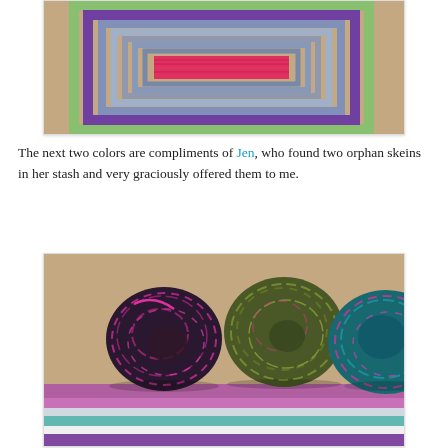[Figure (photo): A colorful knitted or crocheted square/blanket piece lying on a beige carpet, showing concentric rectangular stripes in colors including red/pink in the center, surrounded by blue-grey, purple, and green border rows.]
The next two colors are compliments of Jen, who found two orphan skeins in her stash and very graciously offered them to me.
[Figure (photo): Three balls of wound yarn sitting on top of a striped knitted/crocheted blanket. The left ball is dark with pink/magenta streaks, the middle ball is olive green and pink multicolor, and the right ball (partially visible) is teal/aqua and pink. The blanket below shows horizontal stripes in purple, white/cream, teal, and mauve/pink.]